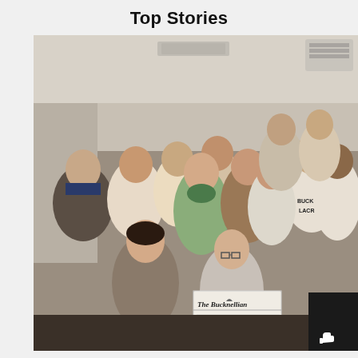Top Stories
[Figure (photo): Group photo of approximately 14 people posing together indoors, likely a newsroom or office setting. One person in the front row is holding a copy of 'The Bucknellian' newspaper. People are wearing casual clothes including sweatshirts, one reading 'BUCKNELL LACROSSE'. The photo appears to be from the late 1980s or early 1990s based on the style and coloring.]